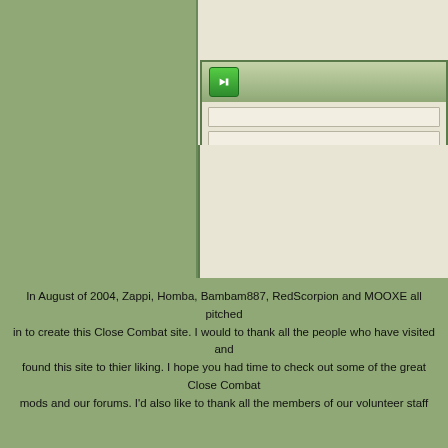[Figure (screenshot): Partial screenshot of a Close Combat fan website with a green background, a beige content panel on the right, and a login/navigation form box with a green arrow button and input fields.]
In August of 2004, Zappi, Homba, Bambam887, RedScorpion and MOOXE all pitched in to create this Close Combat site. I would to thank all the people who have visited and found this site to thier liking. I hope you had time to check out some of the great Close Combat mods and our forums. I'd also like to thank all the members of our volunteer staff